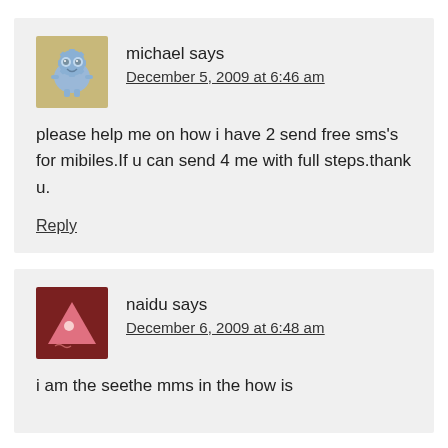[Figure (illustration): Blue cartoon avatar icon for user michael]
michael says
December 5, 2009 at 6:46 am
please help me on how i have 2 send free sms's for mibiles.If u can send 4 me with full steps.thank u.
Reply
[Figure (illustration): Pink triangle cartoon avatar icon for user naidu]
naidu says
December 6, 2009 at 6:48 am
i am the seethe mms in the how is